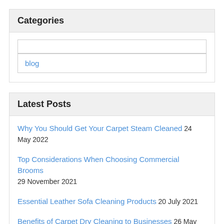Categories
blog
Latest Posts
Why You Should Get Your Carpet Steam Cleaned 24 May 2022
Top Considerations When Choosing Commercial Brooms 29 November 2021
Essential Leather Sofa Cleaning Products 20 July 2021
Benefits of Carpet Dry Cleaning to Businesses 26 May 2021